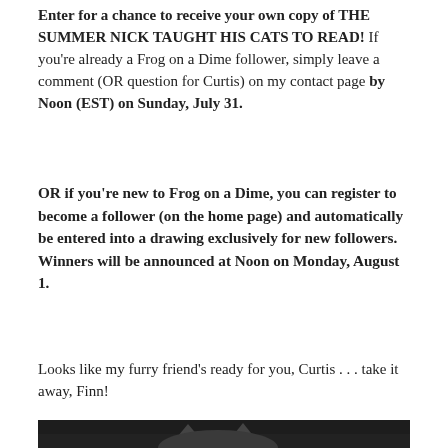Enter for a chance to receive your own copy of THE SUMMER NICK TAUGHT HIS CATS TO READ! If you're already a Frog on a Dime follower, simply leave a comment (OR question for Curtis) on my contact page by Noon (EST) on Sunday, July 31.
OR if you're new to Frog on a Dime, you can register to become a follower (on the home page) and automatically be entered into a drawing exclusively for new followers. Winners will be announced at Noon on Monday, August 1.
Looks like my furry friend's ready for you, Curtis . . . take it away, Finn!
[Figure (photo): A cat (Finn) partially visible, dark background, appearing to look at or over something, with pointed ears visible]